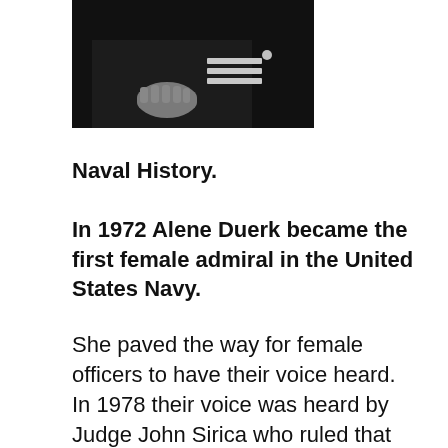[Figure (photo): Black and white photograph of a naval officer in uniform, showing hands and sleeve with rank stripes visible.]
Naval History.
In 1972 Alene Duerk became the first female admiral in the United States Navy.
She paved the way for female officers to have their voice heard.
In 1978 their voice was heard by Judge John Sirica who ruled that banning navy women from ships was deemed unconstitutional in the case